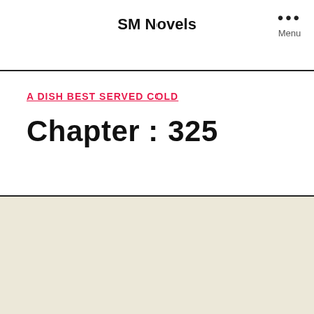SM Novels
Menu
A DISH BEST SERVED COLD
Chapter : 325